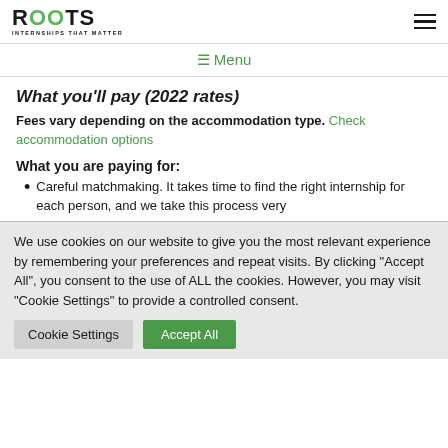ROOTS Internships That Matter [logo] [hamburger menu]
Menu
What you'll pay (2022 rates)
Fees vary depending on the accommodation type. Check accommodation options
What you are paying for:
Careful matchmaking. It takes time to find the right internship for each person, and we take this process very
We use cookies on our website to give you the most relevant experience by remembering your preferences and repeat visits. By clicking “Accept All”, you consent to the use of ALL the cookies. However, you may visit "Cookie Settings" to provide a controlled consent.